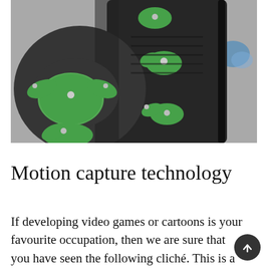[Figure (photo): Close-up photo of a person wearing a black motion capture suit with green oval-shaped sensor pads attached at the knee and body joints, with small white reflective markers on the green pads. The background is blurred.]
Motion capture technology
If developing video games or cartoons is your favourite occupation, then we are sure that you have seen the following cliché. This is a man in